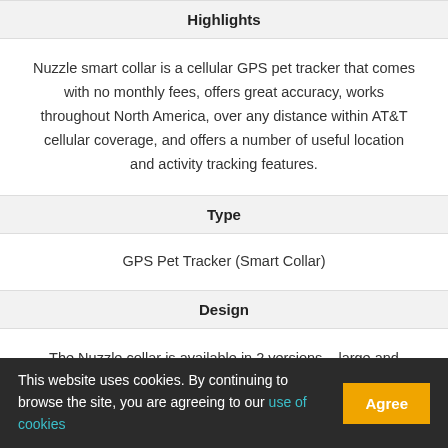Highlights
Nuzzle smart collar is a cellular GPS pet tracker that comes with no monthly fees, offers great accuracy, works throughout North America, over any distance within AT&T cellular coverage, and offers a number of useful location and activity tracking features.
Type
GPS Pet Tracker (Smart Collar)
Design
The Nuzzle collar is available in 2 versions – large and small. The small collar is made of waterproof TPU (Thermoplastic Polyurethane) while the large collar is made of heavy-duty nylon. Both the large
This website uses cookies. By continuing to browse the site, you are agreeing to our use of cookies